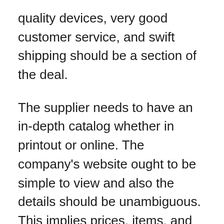quality devices, very good customer service, and swift shipping should be a section of the deal.
The supplier needs to have an in-depth catalog whether in printout or online. The company's website ought to be simple to view and also the details should be unambiguous. This implies prices, items, and shipping and delivery information must be properly laid out and crystal clear.
Typically, a medical facility requires to modify with time. The best company of surgery